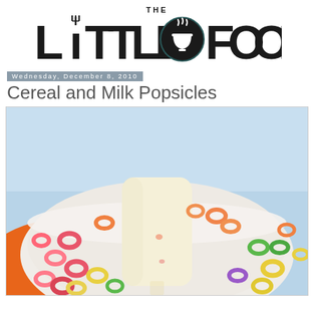THE LITTLE FOODIE
Wednesday, December 8, 2010
Cereal and Milk Popsicles
[Figure (photo): A creamy white popsicle sitting in a white bowl filled with colorful Froot Loops cereal, photographed from above against a light blue background.]